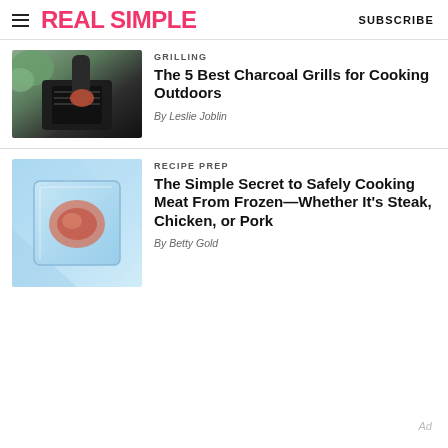REAL SIMPLE | SUBSCRIBE
[Figure (photo): Person pouring ingredients into a charcoal grill]
GRILLING
The 5 Best Charcoal Grills for Cooking Outdoors
By Leslie Joblin
[Figure (photo): Frozen meat inside an ice cube on blue background]
RECIPE PREP
The Simple Secret to Safely Cooking Meat From Frozen—Whether It's Steak, Chicken, or Pork
By Betty Gold
Ad